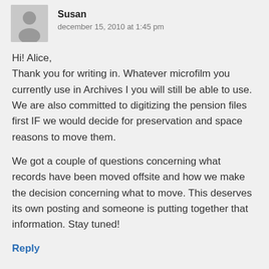Susan
december 15, 2010 at 1:45 pm
Hi! Alice,
Thank you for writing in. Whatever microfilm you currently use in Archives I you will still be able to use. We are also committed to digitizing the pension files first IF we would decide for preservation and space reasons to move them.

We got a couple of questions concerning what records have been moved offsite and how we make the decision concerning what to move. This deserves its own posting and someone is putting together that information. Stay tuned!
Reply